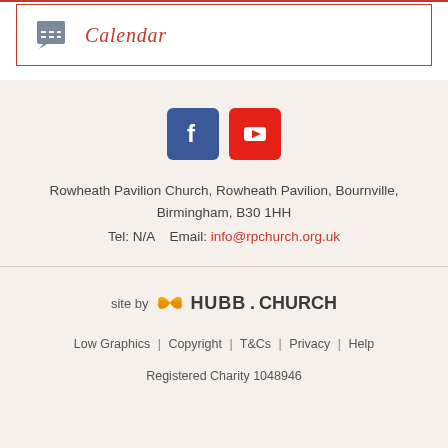Calendar
[Figure (infographic): Social media icons: Facebook (blue square with 'f') and YouTube (red square with play button)]
Rowheath Pavilion Church, Rowheath Pavilion, Bournville, Birmingham, B30 1HH
Tel: N/A    Email: info@rpchurch.org.uk
[Figure (logo): site by HUBB.CHURCH logo with orange butterfly/wings icon]
Low Graphics | Copyright | T&Cs | Privacy | Help
Registered Charity 1048946